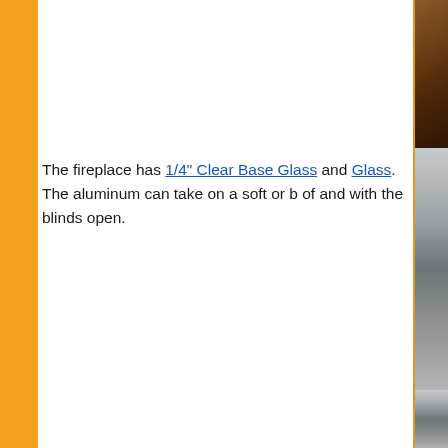[Figure (photo): Partial photo showing a brown/wood surface, cropped at top right of page]
The fireplace has 1/4" Clear Base Glass and Glass. The aluminum can take on a soft or b of and with the blinds open.
[Figure (photo): Interior room photo showing ceiling with recessed lighting and a large gray wall panel or fireplace surround]